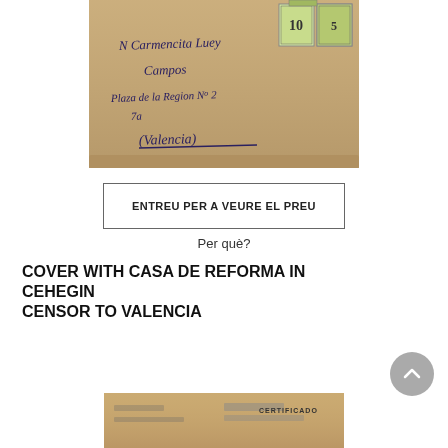[Figure (photo): Old envelope addressed in handwritten script to 'N Carmencita Luey Campos, Plaza de la Region No 2, (Valencia)' with stamps visible in upper right corner, brown paper envelope]
ENTREU PER A VEURE EL PREU
Per què?
COVER WITH CASA DE REFORMA IN CEHEGIN CENSOR TO VALENCIA
[Figure (photo): Partially visible old envelope or postal cover at the bottom of the page]